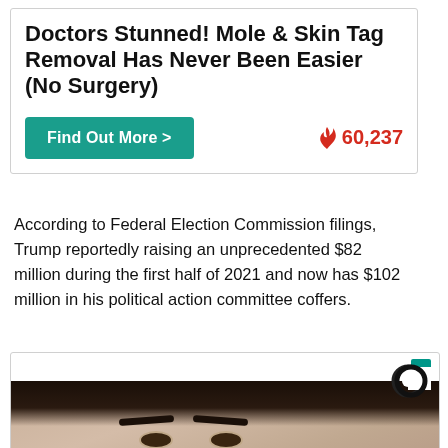Doctors Stunned! Mole & Skin Tag Removal Has Never Been Easier (No Surgery)
[Figure (other): Advertisement box with teal 'Find Out More >' button and red flame icon with count 60,237]
According to Federal Election Commission filings, Trump reportedly raising an unprecedented $82 million during the first half of 2021 and now has $102 million in his political action committee coffers.
[Figure (photo): Advertisement box showing a close-up photo of a woman's face with white bandage/cotton on her nose area, with Outbrain logo in top right corner.]